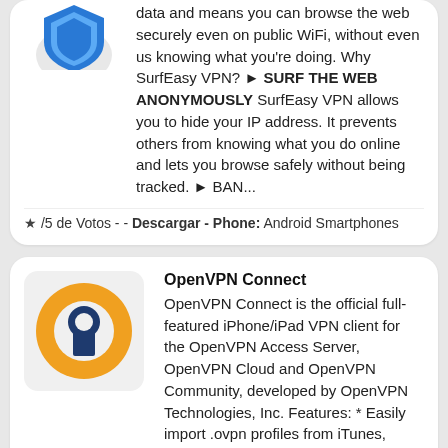data and means you can browse the web securely even on public WiFi, without even us knowing what you're doing. Why SurfEasy VPN? ► SURF THE WEB ANONYMOUSLY SurfEasy VPN allows you to hide your IP address. It prevents others from knowing what you do online and lets you browse safely without being tracked. ► BAN...
★ /5 de Votos - - Descargar - Phone: Android Smartphones
OpenVPN Connect
OpenVPN Connect is the official full-featured iPhone/iPad VPN client for the OpenVPN Access Server, OpenVPN Cloud and OpenVPN Community, developed by OpenVPN Technologies, Inc. Features: * Easily import .ovpn profiles from iTunes, OpenVPN Access Server, OpenVPN Cloud or via a browser link. * State-of-the-art power management technology minimizes battery usage. * Support for multi-factor authentication using OpenVPN stati...
★ /5 de Votos - - Descargar - Phone: Android Smartphones